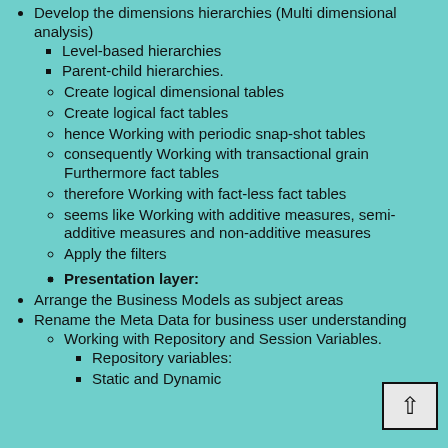Develop the dimensions hierarchies (Multi dimensional analysis)
Level-based hierarchies
Parent-child hierarchies.
Create logical dimensional tables
Create logical fact tables
hence Working with periodic snap-shot tables
consequently Working with transactional grain Furthermore fact tables
therefore Working with fact-less fact tables
seems like Working with additive measures, semi-additive measures and non-additive measures
Apply the filters
Presentation layer:
Arrange the Business Models as subject areas
Rename the Meta Data for business user understanding
Working with Repository and Session Variables.
Repository variables:
Static and Dynamic